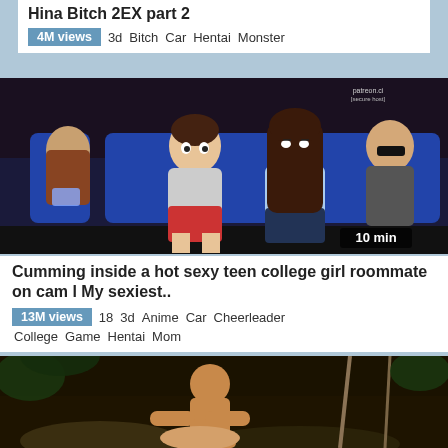Hina Bitch 2EX part 2
4M views  3d  Bitch  Car  Hentai  Monster
[Figure (illustration): Anime/cartoon style illustration of two characters sitting in a movie theater. A young male with brown hair in white t-shirt and red shorts sits next to a female with long brown hair in light blue top and dark pants. Other audience members visible in the background. Patreon.ci watermark in top right. Duration badge '10 min' in bottom right.]
Cumming inside a hot sexy teen college girl roommate on cam l My sexiest..
13M views  18  3d  Anime  Car  Cheerleader  College  Game  Hentai  Mom
[Figure (illustration): 3D rendered scene showing muscular characters in an outdoor jungle/forest setting with ropes and rocks in the background.]